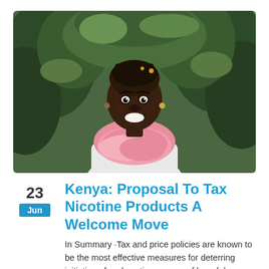[Figure (photo): Portrait of a smiling African woman wearing a white top and pink scarf, standing in front of green tropical foliage outdoors.]
Kenya: Proposal To Tax Nicotine Products A Welcome Move
In Summary ·Tax and price policies are known to be the most effective measures for deterring initiation of and continuous use of harmful products such as tobacco